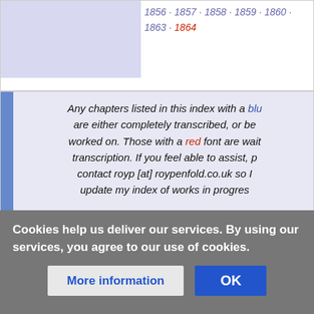1856 · 1857 · 1858 · 1859 · 1860 · 1863 · 1864
Any chapters listed in this index with a blue font are either completely transcribed, or being worked on. Those with a red font are waiting transcription. If you feel able to assist, please contact royp [at] roypenfold.co.uk so I can update my index of works in progress.
References & Notes
Cookies help us deliver our services. By using our services, you agree to our use of cookies.